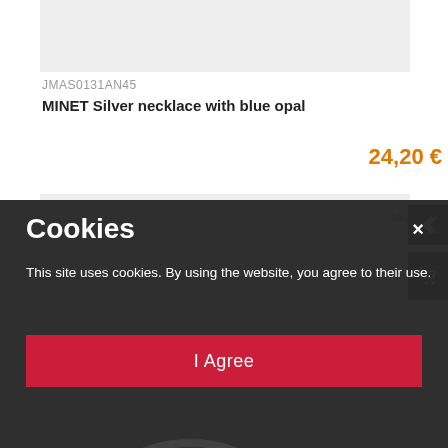[Figure (photo): Product image placeholder (light gray rectangle) for silver necklace]
JMAS0131AN45
MINET Silver necklace with blue opal
24,20 €
[Figure (photo): Second product image placeholder (light gray rectangle) showing necklace; 'In Stock' label in green at top right]
In Stock
Cookies
This site uses cookies. By using the website, you agree to their use.
I Agree